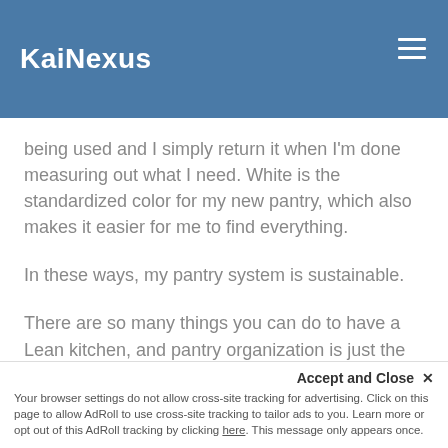KaiNexus
being used and I simply return it when I'm done measuring out what I need. White is the standardized color for my new pantry, which also makes it easier for me to find everything.
In these ways, my pantry system is sustainable.
There are so many things you can do to have a Lean kitchen, and pantry organization is just the beginning. What have you done to 5S your own kitchen?
Accept and Close ×
Your browser settings do not allow cross-site tracking for advertising. Click on this page to allow AdRoll to use cross-site tracking to tailor ads to you. Learn more or opt out of this AdRoll tracking by clicking here. This message only appears once.